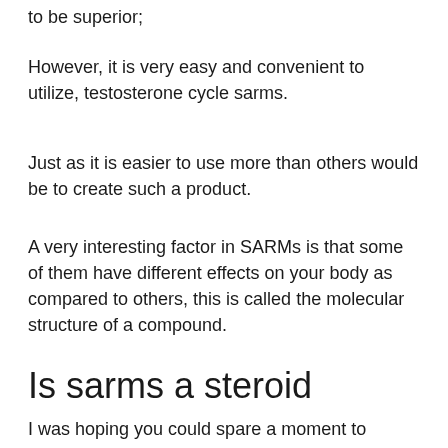to be superior;
However, it is very easy and convenient to utilize, testosterone cycle sarms.
Just as it is easier to use more than others would be to create such a product.
A very interesting factor in SARMs is that some of them have different effects on your body as compared to others, this is called the molecular structure of a compound.
Is sarms a steroid
I was hoping you could spare a moment to advise me on what SARMS to stack with my steroid cycles.
As a result of my long-term testing of these cycles and your work, I would be delighted if